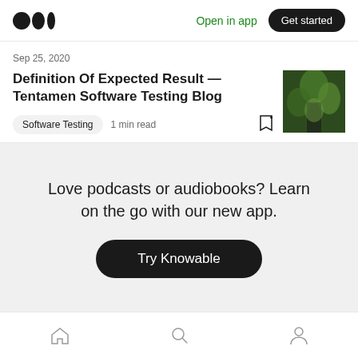Medium logo | Open in app | Get started
Sep 25, 2020
Definition Of Expected Result — Tentamen Software Testing Blog
Software Testing  1 min read
Love podcasts or audiobooks? Learn on the go with our new app.
Try Knowable
Home | Search | Profile